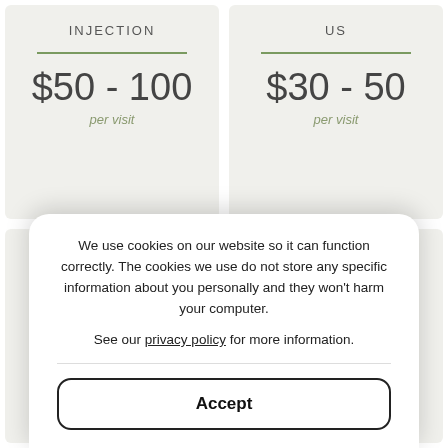INJECTION
$50 - 100
per visit
US
$30 - 50
per visit
STRAPPING
$30 - 50
CASTING
$100
We use cookies on our website so it can function correctly. The cookies we use do not store any specific information about you personally and they won't harm your computer.
See our privacy policy for more information.
Accept